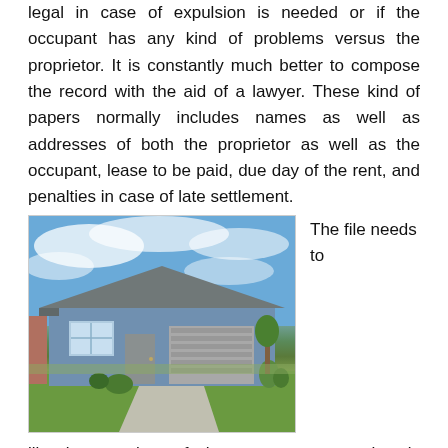legal in case of expulsion is needed or if the occupant has any kind of problems versus the proprietor. It is constantly much better to compose the record with the aid of a lawyer. These kind of papers normally includes names as well as addresses of both the proprietor as well as the occupant, lease to be paid, due day of the rent, and penalties in case of late settlement.
[Figure (photo): Exterior photo of a single-story residential house with a blue/grey exterior, grey roof, attached garage, landscaped front yard with green lawn and shrubs, and blue sky with clouds in the background.]
The file needs to
likewise consists of the area summary that is renting out, in-depth information of the furnishings and various other points in the room, use cooking area or